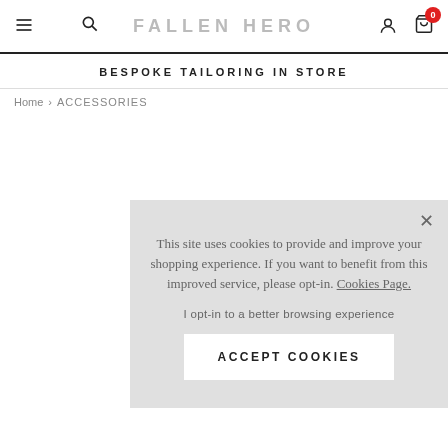FALLEN HERO — navigation bar with menu, search, account, and cart icons
BESPOKE TAILORING IN STORE
Home › ACCESSORIES
This site uses cookies to provide and improve your shopping experience. If you want to benefit from this improved service, please opt-in. Cookies Page.
I opt-in to a better browsing experience
ACCEPT COOKIES